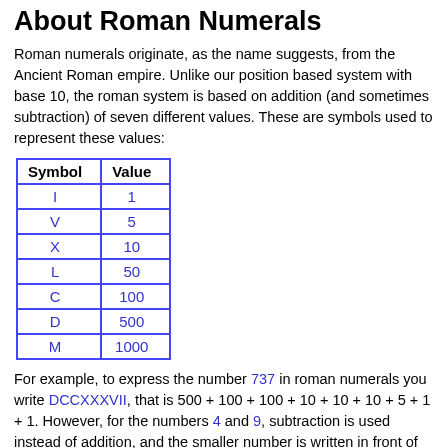About Roman Numerals
Roman numerals originate, as the name suggests, from the Ancient Roman empire. Unlike our position based system with base 10, the roman system is based on addition (and sometimes subtraction) of seven different values. These are symbols used to represent these values:
| Symbol | Value |
| --- | --- |
| I | 1 |
| V | 5 |
| X | 10 |
| L | 50 |
| C | 100 |
| D | 500 |
| M | 1000 |
For example, to express the number 737 in roman numerals you write DCCXXXVII, that is 500 + 100 + 100 + 10 + 10 + 10 + 5 + 1 + 1. However, for the numbers 4 and 9, subtraction is used instead of addition, and the smaller number is written in front of the greater number: e.g. 14 is written as XIV, i.e. 10 + 5 – 1, and 100 is expressed as...